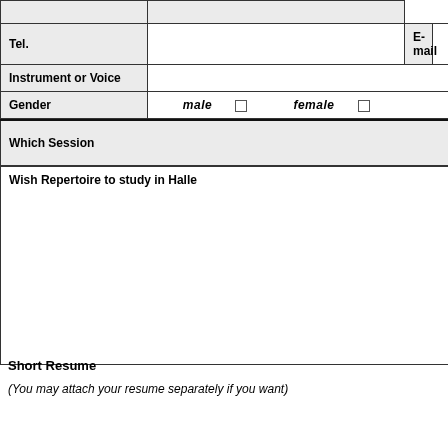| Tel. |  | E-mail |  |
| --- | --- | --- | --- |
| Instrument or Voice |  |  |  |
| Gender | male  □ | female  □ |  |
| Which Session |
| --- |
| Wish Repertoire to study in Halle |
| --- |
|  |
Short Resume
(You may attach your resume separately if you want)